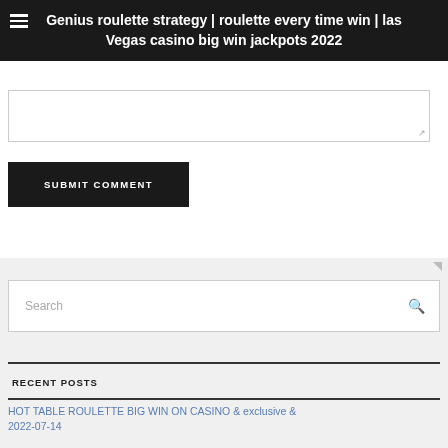Genius roulette strategy | roulette every time win | las Vegas casino big win jackpots 2022
[Figure (other): Text input textarea with resize handle]
SUBMIT COMMENT
[Figure (other): Search input box with search icon]
RECENT POSTS
HOT TABLE ROULETTE BIG WIN ON CASINO & exclusive &
2022-07-14
HUGE WIN On All Board Slot Machine
First Time Cruiser Casino Info -Casino Cruises Reward